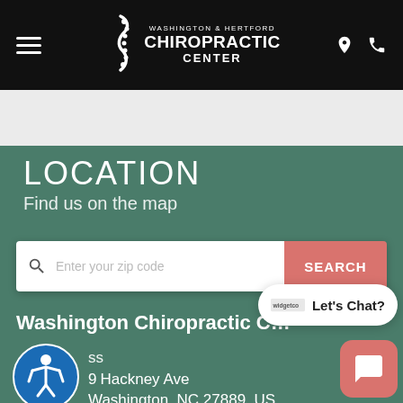Washington & Hertford Chiropractic Center
LOCATION
Find us on the map
Enter your zip code  SEARCH
Washington Chiropractic
ss
9  Hackney Ave
Washington, NC 27889, US